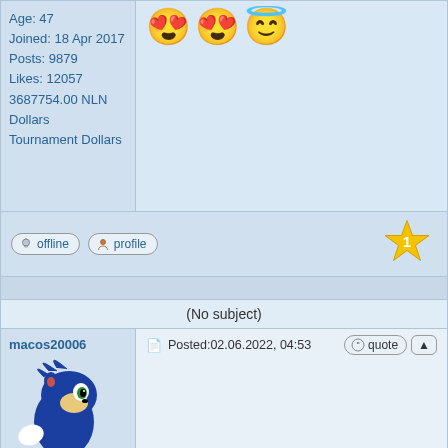Age: 47
Joined: 18 Apr 2017
Posts: 9879
Likes: 12057
3687754.00 NLN Dollars
Tournament Dollars
[Figure (illustration): Three emoji: two heart-eyes emoji and one angel/halo emoji]
offline  profile
[Figure (illustration): Gold star badge with number 1]
(No subject)
macos20006
[Figure (illustration): Sonic the Hedgehog cartoon avatar]
Age: 44
Joined: 16 Aug 2006
Posts: 7686
Likes: 8965
Posted:02.06.2022, 04:53